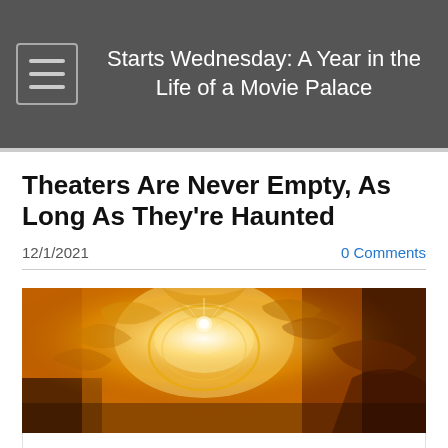Starts Wednesday: A Year in the Life of a Movie Palace
Theaters Are Never Empty, As Long As They're Haunted
12/1/2021
0 Comments
[Figure (photo): Ornate movie theater ceiling with golden baroque decorations and chandelier lighting, warm amber and golden tones]